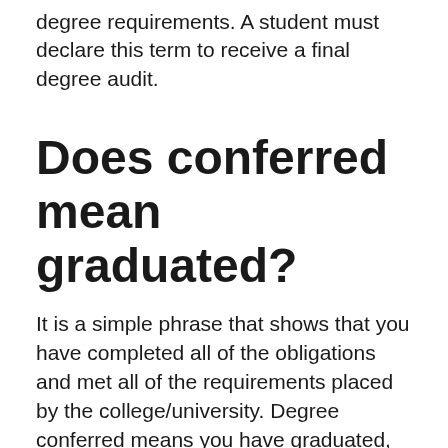degree requirements. A student must declare this term to receive a final degree audit.
Does conferred mean graduated?
It is a simple phrase that shows that you have completed all of the obligations and met all of the requirements placed by the college/university. Degree conferred means you have graduated, and all that is left to do is attend the diploma ceremony where you will be given your well-earned diploma.